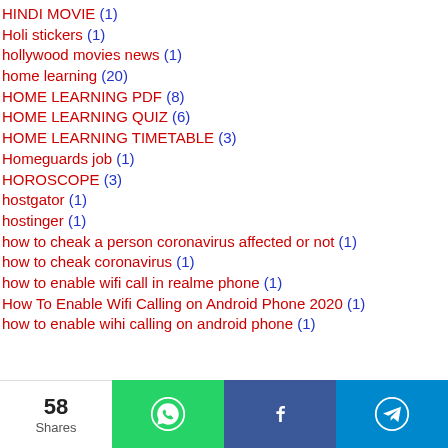HINDI MOVIE (1)
Holi stickers (1)
hollywood movies news (1)
home learning (20)
HOME LEARNING PDF (8)
HOME LEARNING QUIZ (6)
HOME LEARNING TIMETABLE (3)
Homeguards job (1)
HOROSCOPE (3)
hostgator (1)
hostinger (1)
how to cheak a person coronavirus affected or not (1)
how to cheak coronavirus (1)
how to enable wifi call in realme phone (1)
How To Enable Wifi Calling on Android Phone 2020 (1)
how to enable wihi calling on android phone (1)
58 Shares